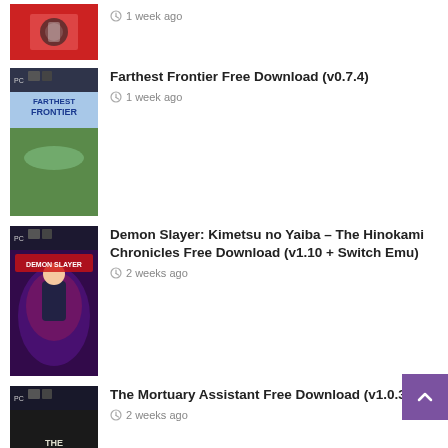1 week ago (partial entry, no title visible)
Farthest Frontier Free Download (v0.7.4) — 1 week ago
Demon Slayer: Kimetsu no Yaiba – The Hinokami Chronicles Free Download (v1.10 + Switch Emu) — 2 weeks ago
The Mortuary Assistant Free Download (v1.0.36) — 2 weeks ago
The Coin Game Free Download (Build 7920670) — 2 weeks ago